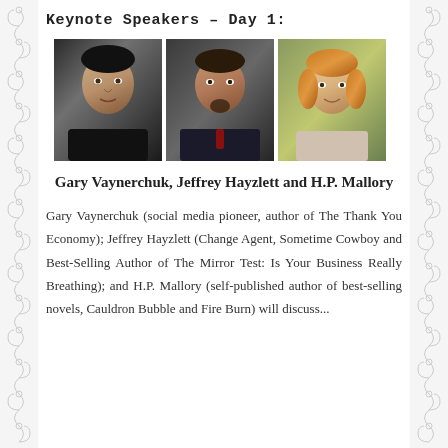Keynote Speakers – Day 1:
[Figure (photo): Three headshot photos side by side: Gary Vaynerchuk (young man in black), Jeffrey Hayzlett (middle-aged man in suit), H.P. Mallory (young woman with reddish hair)]
Gary Vaynerchuk, Jeffrey Hayzlett and H.P. Mallory
Gary Vaynerchuk (social media pioneer, author of The Thank You Economy); Jeffrey Hayzlett (Change Agent, Sometime Cowboy and Best-Selling Author of The Mirror Test: Is Your Business Really Breathing); and H.P. Mallory (self-published author of best-selling novels, Cauldron Bubble and Fire Burn) will discuss...